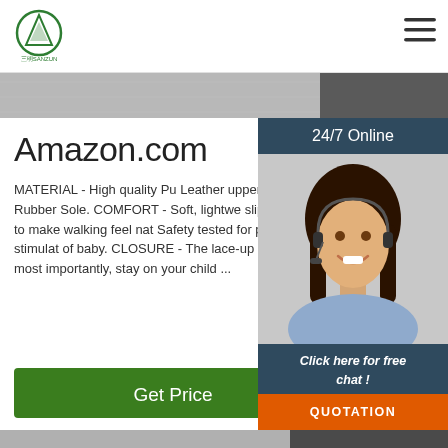[Figure (logo): Sanzun company logo - green circle with mountain/triangle symbol and text 三明SANZUN]
[Figure (screenshot): Hamburger menu icon (three horizontal lines) in top right corner]
[Figure (photo): Top strip photo showing gray/dark fabric background]
Amazon.com
MATERIAL - High quality Pu Leather upper,Breat Lining,soft Rubber Sole. COMFORT - Soft, lightwe slip sole is well-crafted to make walking feel nat Safety tested for peace of mind.NO any stimulat of baby. CLOSURE - The lace-up closure easy to p and most importantly, stay on your child ...
[Figure (screenshot): Green Get Price button]
[Figure (photo): 24/7 Online customer service panel with agent photo, dark blue header saying 24/7 Online, italic text Click here for free chat!, orange QUOTATION button]
[Figure (photo): Bottom photo showing wooden comb on gray fabric background with dark section on right side, and gray circular back-to-top button]